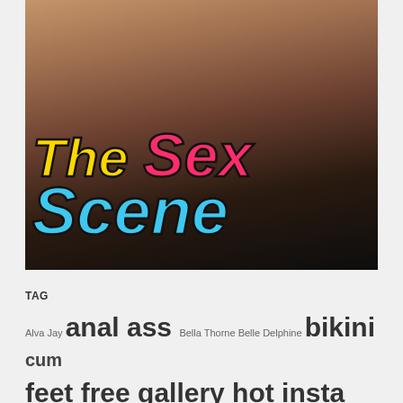[Figure (photo): Website header image with logo overlay reading 'The Sex Scene' with colorful stylized text on a dark background]
TAG
Alva Jay anal ass Bella Thorne Belle Delphine bikini cum feet free gallery hot insta Instagram Interesting leak leaked leaks lewd Mackenzie Jones mega naked nude nudes OnlyFans Other Leaked Models Other Nude Models